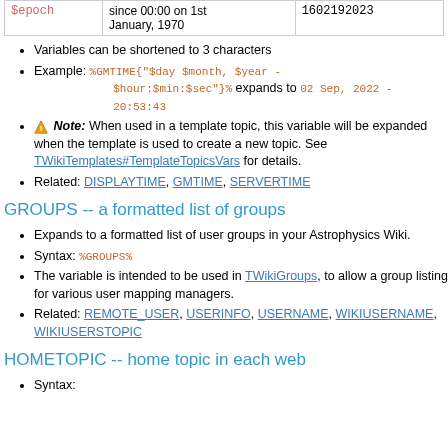| $epoch | since 00:00 on 1st January, 1970 | 1602192023 |
| --- | --- | --- |
Variables can be shortened to 3 characters
Example: %GMTIME{"$day $month, $year - $hour:$min:$sec"}% expands to 02 Sep, 2022 - 20:53:43
⚠ Note: When used in a template topic, this variable will be expanded when the template is used to create a new topic. See TWikiTemplates#TemplateTopicsVars for details.
Related: DISPLAYTIME, GMTIME, SERVERTIME
GROUPS -- a formatted list of groups
Expands to a formatted list of user groups in your Astrophysics Wiki.
Syntax: %GROUPS%
The variable is intended to be used in TWikiGroups, to allow a group listing for various user mapping managers.
Related: REMOTE_USER, USERINFO, USERNAME, WIKIUSERNAME, WIKIUSERSTOPIC
HOMETOPIC -- home topic in each web
Syntax: